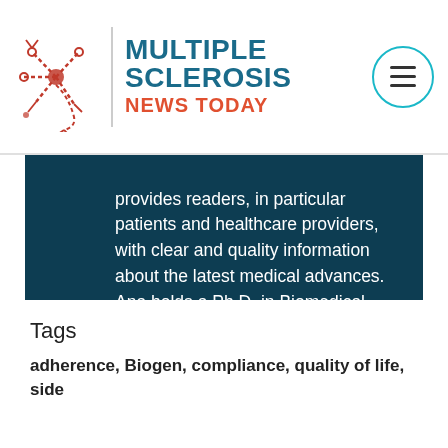Multiple Sclerosis News Today
provides readers, in particular patients and healthcare providers, with clear and quality information about the latest medical advances. Ana holds a Ph.D. in Biomedical Sciences from the University of Lisbon, Portugal, where she specialized in infectious diseases, epigenetics, and gene expression.
Tags
adherence, Biogen, compliance, quality of life, side